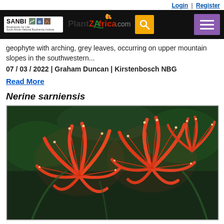Login | Register
[Figure (screenshot): PlantZAfrica.com website header navigation bar with SANBI logo, PlantZAfrica.com logo, search button, and menu button]
geophyte with arching, grey leaves, occurring on upper mountain slopes in the southwestern...
07 / 03 / 2022 | Graham Duncan | Kirstenbosch NBG
Read More
Nerine sarniensis
[Figure (photo): Close-up photograph of Nerine sarniensis flowers showing vibrant red-orange blooms with curling petals and long stamens against dark green foliage background]